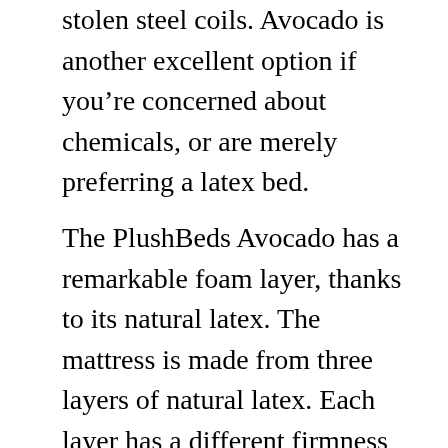stolen steel coils. Avocado is another excellent option if you’re concerned about chemicals, or are merely preferring a latex bed.
The PlushBeds Avocado has a remarkable foam layer, thanks to its natural latex. The mattress is made from three layers of natural latex. Each layer has a different firmness level, so you’ll have more control over your comfort. PlushBeds’ Avocado mattress comes with a 2-inch euro-top layer and one inch of company core base. Avocado